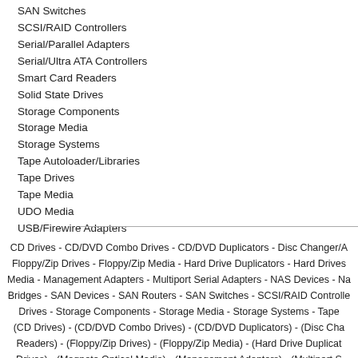SAN Switches
SCSI/RAID Controllers
Serial/Parallel Adapters
Serial/Ultra ATA Controllers
Smart Card Readers
Solid State Drives
Storage Components
Storage Media
Storage Systems
Tape Autoloader/Libraries
Tape Drives
Tape Media
UDO Media
USB/Firewire Adapters
CD Drives - CD/DVD Combo Drives - CD/DVD Duplicators - Disc Changer/A Floppy/Zip Drives - Floppy/Zip Media - Hard Drive Duplicators - Hard Drives Media - Management Adapters - Multiport Serial Adapters - NAS Devices - Na Bridges - SAN Devices - SAN Routers - SAN Switches - SCSI/RAID Controlle Drives - Storage Components - Storage Media - Storage Systems - Tape (CD Drives) - (CD/DVD Combo Drives) - (CD/DVD Duplicators) - (Disc Cha Readers) - (Floppy/Zip Drives) - (Floppy/Zip Media) - (Hard Drive Duplicat Drives) - (Magneto Optical Media) - (Management Adapters) - (Multiport S Adapters) - (REV Drives) - (REV Media) - (SAN Bridges) - (SAN Devices) (Serial/Ultra ATA Controllers) - (Smart Card Readers) - (Solid State Drives)